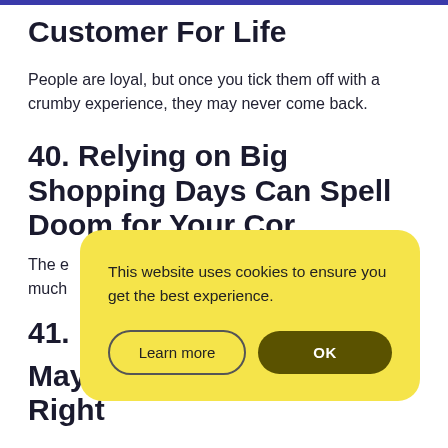Customer For Life
People are loyal, but once you tick them off with a crumby experience, they may never come back.
40. Relying on Big Shopping Days Can Spell Doom for Your Com…
The e… much… s.
[Figure (screenshot): Cookie consent dialog with yellow background: 'This website uses cookies to ensure you get the best experience.' with 'Learn more' and 'OK' buttons.]
41.
May Not Be Getting the Right